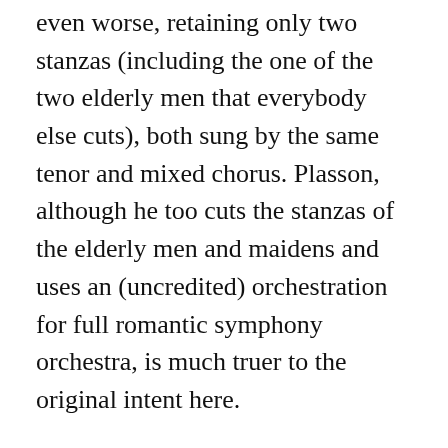even worse, retaining only two stanzas (including the one of the two elderly men that everybody else cuts), both sung by the same tenor and mixed chorus. Plasson, although he too cuts the stanzas of the elderly men and maidens and uses an (uncredited) orchestration for full romantic symphony orchestra, is much truer to the original intent here.
Cherubini's extraordinary “Funeral Hymn on the Death of General Hoche” (track 19) is a special case. First, it is mis-titled. Cherubini's original work was made of two parts, a Funeral March that was played during the procession, and a Funeral Hymn sung at the mausoleum; Richaureau plays only the March, not the Hymn